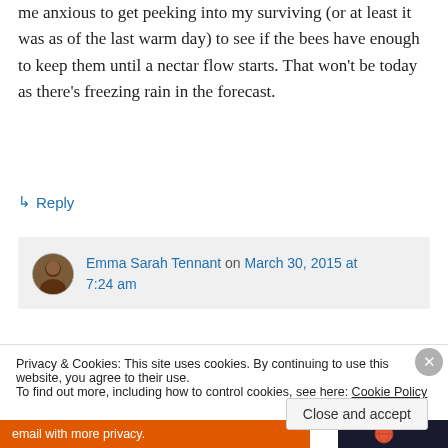me anxious to get peeking into my surviving (or at least it was as of the last warm day) to see if the bees have enough to keep them until a nectar flow starts. That won't be today as there's freezing rain in the forecast.
↳ Reply
Emma Sarah Tennant on March 30, 2015 at 7:24 am
Privacy & Cookies: This site uses cookies. By continuing to use this website, you agree to their use. To find out more, including how to control cookies, see here: Cookie Policy
Close and accept
email with more privacy.